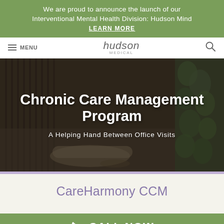We are proud to announce the launch of our Interventional Mental Health Division: Hudson Mind
LEARN MORE
MENU | hudson MEDICAL
Chronic Care Management Program
A Helping Hand Between Office Visits
[Figure (screenshot): Medical clinic interior with dark wood slat walls, round sofa chairs, coffee table, and green plant wall, used as hero background image]
CareHarmony CCM
CALL NOW